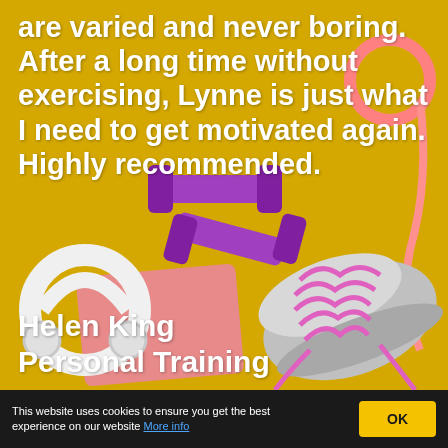[Figure (photo): Yellow background with fitness items: purple dumbbells, white headphones, pink towel, grey and pink sneakers, pink measuring tape]
are varied and never boring. After a long time without exercising, Lynne is just what I need to get motivated again. Highly recommended.
Helen King
Personal Training
This website uses cookies to ensure you get the best experience on our website More info
OK